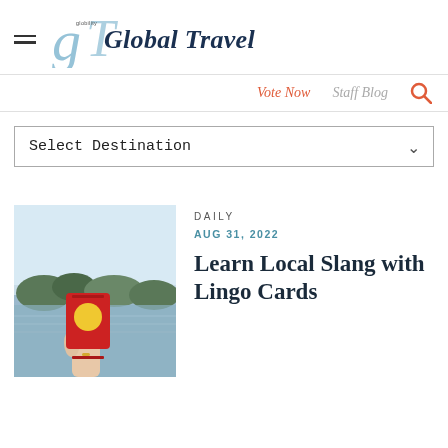[Figure (logo): Global Traveler magazine logo with stylized GT letters in blue and the text 'Global Traveler' in dark blue serif font]
Vote Now  Staff Blog
Select Destination
[Figure (photo): A hand holding a red box of Lingo Cards against a blurred water and trees background]
DAILY
AUG 31, 2022
Learn Local Slang with Lingo Cards